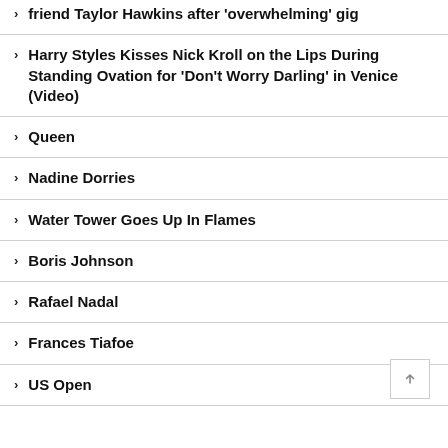friend Taylor Hawkins after 'overwhelming' gig
Harry Styles Kisses Nick Kroll on the Lips During Standing Ovation for 'Don't Worry Darling' in Venice (Video)
Queen
Nadine Dorries
Water Tower Goes Up In Flames
Boris Johnson
Rafael Nadal
Frances Tiafoe
US Open